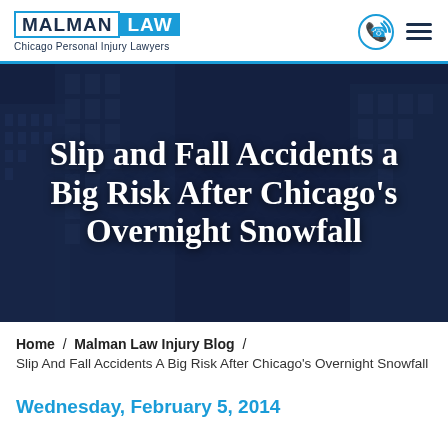MALMAN LAW — Chicago Personal Injury Lawyers
[Figure (screenshot): Hero banner with dark blue building background and white serif title text: Slip and Fall Accidents a Big Risk After Chicago's Overnight Snowfall]
Slip and Fall Accidents a Big Risk After Chicago's Overnight Snowfall
Home / Malman Law Injury Blog / Slip And Fall Accidents A Big Risk After Chicago's Overnight Snowfall
Wednesday, February 5, 2014